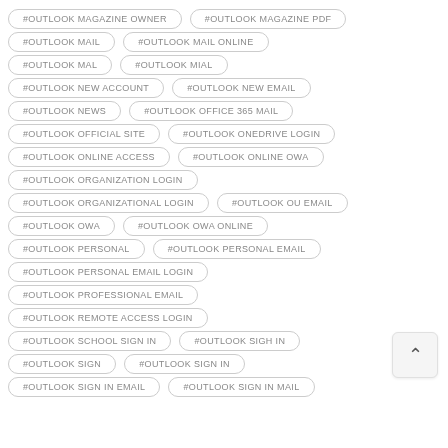#OUTLOOK MAGAZINE OWNER
#OUTLOOK MAGAZINE PDF
#OUTLOOK MAIL
#OUTLOOK MAIL ONLINE
#OUTLOOK MAL
#OUTLOOK MIAL
#OUTLOOK NEW ACCOUNT
#OUTLOOK NEW EMAIL
#OUTLOOK NEWS
#OUTLOOK OFFICE 365 MAIL
#OUTLOOK OFFICIAL SITE
#OUTLOOK ONEDRIVE LOGIN
#OUTLOOK ONLINE ACCESS
#OUTLOOK ONLINE OWA
#OUTLOOK ORGANIZATION LOGIN
#OUTLOOK ORGANIZATIONAL LOGIN
#OUTLOOK OU EMAIL
#OUTLOOK OWA
#OUTLOOK OWA ONLINE
#OUTLOOK PERSONAL
#OUTLOOK PERSONAL EMAIL
#OUTLOOK PERSONAL EMAIL LOGIN
#OUTLOOK PROFESSIONAL EMAIL
#OUTLOOK REMOTE ACCESS LOGIN
#OUTLOOK SCHOOL SIGN IN
#OUTLOOK SIGH IN
#OUTLOOK SIGN
#OUTLOOK SIGN IN
#OUTLOOK SIGN IN EMAIL
#OUTLOOK SIGN IN MAIL